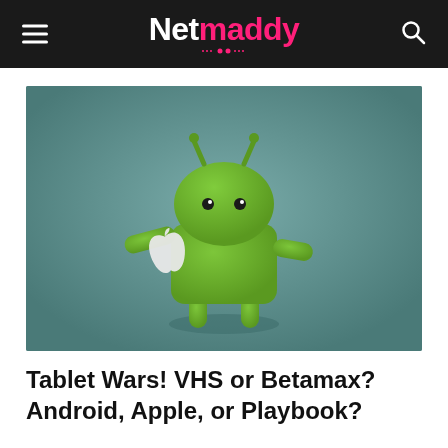Netmaddy
[Figure (photo): Android mascot robot figurine (green) holding a white Apple logo, set against a teal-gray background.]
Tablet Wars! VHS or Betamax? Android, Apple, or Playbook?